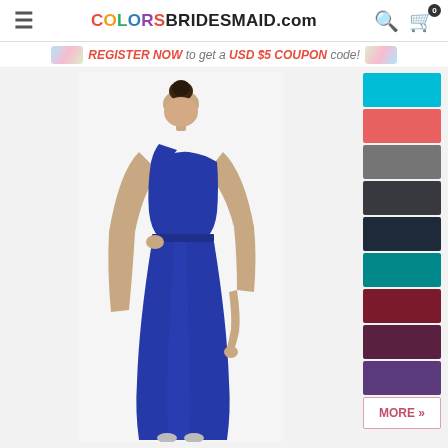COLORSBRIDESMAID.com
REGISTER NOW to get a USD $5 COUPON code!
[Figure (photo): A woman wearing a royal blue one-shoulder floor-length bridesmaid dress, with her hair up in a bun, posed against a white background.]
[Figure (infographic): Color swatches sidebar showing: turquoise/cyan, coral/red, gray, dark charcoal, dark navy, teal, dark red/maroon, dark purple-maroon, purple, and a MORE button.]